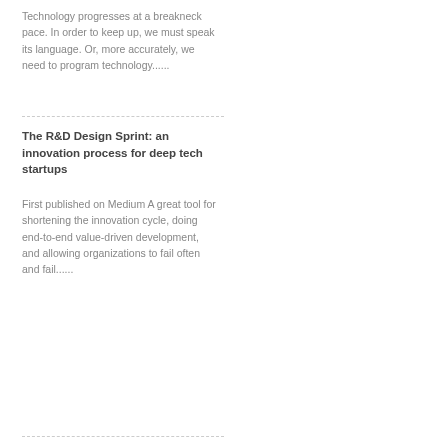Technology progresses at a breakneck pace. In order to keep up, we must speak its language. Or, more accurately, we need to program technology......
The R&D Design Sprint: an innovation process for deep tech startups
First published on Medium A great tool for shortening the innovation cycle, doing end-to-end value-driven development, and allowing organizations to fail often and fail......